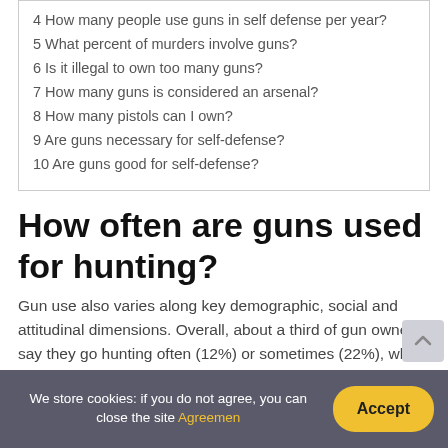4 How many people use guns in self defense per year?
5 What percent of murders involve guns?
6 Is it illegal to own too many guns?
7 How many guns is considered an arsenal?
8 How many pistols can I own?
9 Are guns necessary for self-defense?
10 Are guns good for self-defense?
How often are guns used for hunting?
Gun use also varies along key demographic, social and attitudinal dimensions. Overall, about a third of gun owners say they go hunting often (12%) or sometimes (22%), while roughly half say they go shooting or to a gun range with some frequency (13% often, 40% sometimes).
We store cookies: if you do not agree, you can close the site Agreemen